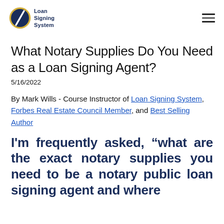Loan Signing System
What Notary Supplies Do You Need as a Loan Signing Agent?
5/16/2022
By Mark Wills - Course Instructor of Loan Signing System, Forbes Real Estate Council Member, and Best Selling Author
I'm frequently asked, “what are the exact notary supplies you need to be a notary public loan signing agent and where